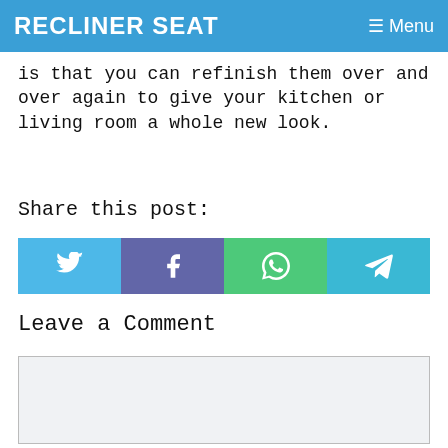RECLINER SEAT  ≡ Menu
is that you can refinish them over and over again to give your kitchen or living room a whole new look.
Share this post:
[Figure (infographic): Four social share buttons: Twitter (blue), Facebook (purple), WhatsApp (green), Telegram (light blue), each with respective icons]
Leave a Comment
(empty comment text area)